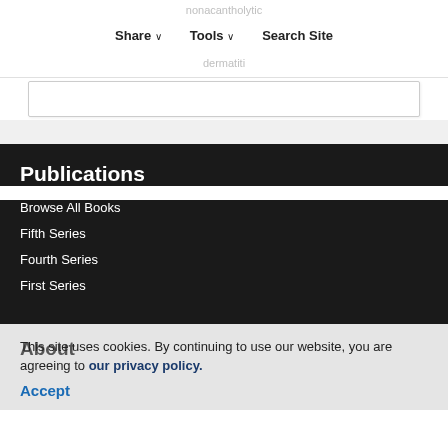Share ∨  Tools ∨  Search Site
nonacantholytic dermatiti
Publications
Browse All Books
Fifth Series
Fourth Series
First Series
About
This site uses cookies. By continuing to use our website, you are agreeing to our privacy policy.
Accept